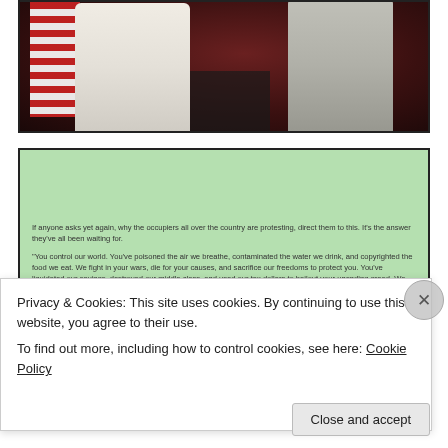[Figure (photo): Two people in formal attire standing before a dark red background with an American flag visible on the left. The person on the left wears a white/cream suit, and the person on the right wears a light gray suit.]
[Figure (screenshot): Green-background text box containing a quote about occupiers/protesters and a longer quote beginning 'You control our world. You've poisoned the air we breathe...']
If anyone asks yet again, why the occupiers all over the country are protesting, direct them to this. It's the answer they've all been waiting for.
"You control our world. You've poisoned the air we breathe, contaminated the water we drink, and copyrighted the food we eat. We fight in your wars, die for your causes, and sacrifice our freedoms to protect you. You've liquidated our savings, destroyed our middle class, and used our tax dollars to bailout your unending greed. We are slaves to your corporations, zombies to your airwaves, servants..... to your decadence. You've stolen our elections, assassinated our leaders, and abolished our basic rights as human beings. You own our property, shinged away our jobs, and shredded our unions. You've profited off of
Privacy & Cookies: This site uses cookies. By continuing to use this website, you agree to their use.
To find out more, including how to control cookies, see here: Cookie Policy
Close and accept